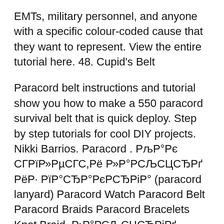EMTs, military personnel, and anyone with a specific colour-coded cause that they want to represent. View the entire tutorial here. 48. Cupid's Belt
Paracord belt instructions and tutorial show you how to make a 550 paracord survival belt that is quick deploy. Step by step tutorials for cool DIY projects. Nikki Barrios. Paracord . РљР°Рє СГРїР»РµСГС,Рё Р»Р°РСЉСЦСЂРґ РёР· РїР°СЂР°РєРСЂРіР° (paracord lanyard) Paracord Watch Paracord Belt Paracord Braids Paracord Bracelets Knot Braid. Р›Р°РСЉСЦСЂРіРґ - СКС,Рs С€РСГСЂРіРё РёР· РїР°СЂР°РєРСЂРіРґР° Explore with a variety of paracord ideas for paracord projects which are